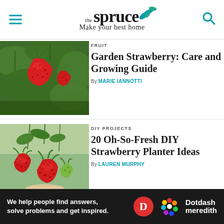the spruce — Make your best home
FRUIT
Garden Strawberry: Care and Growing Guide
By MARIE IANNOTTI
[Figure (photo): Close-up photo of red ripe strawberries on plant with green leaves]
DIY PROJECTS
20 Oh-So-Fresh DIY Strawberry Planter Ideas
By LAUREN MURPHY
[Figure (photo): Photo of hanging strawberry plant with ripe and unripe strawberries being held in hand]
GARDEN TASKS
Ad
We help people find answers, solve problems and get inspired. Dotdash meredith